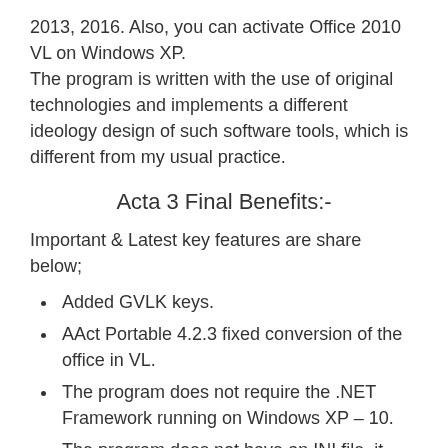2013, 2016. Also, you can activate Office 2010 VL on Windows XP.
The program is written with the use of original technologies and implements a different ideology design of such software tools, which is different from my usual practice.
Acta 3 Final Benefits:-
Important & Latest key features are share below;
Added GVLK keys.
AAct Portable 4.2.3 fixed conversion of the office in VL.
The program does not require the .NET Framework running on Windows XP – 10.
The program does not have an INI file, it does not save anything anywhere.